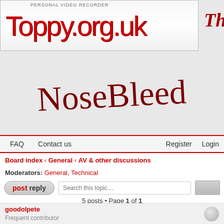[Figure (screenshot): Toppy.org.uk forum website header with logo banner showing the site name in red text on white background]
Th
[Figure (illustration): NoseBleed cursive/handwritten text logo in dark red]
FAQ   Contact us   Register   Login
Board index ‹ General ‹ AV & other discussions
Moderators: General, Technical
5 posts • Page 1 of 1
goodolpete
Frequent contributor
Removal of corroded-in battery from tv remote